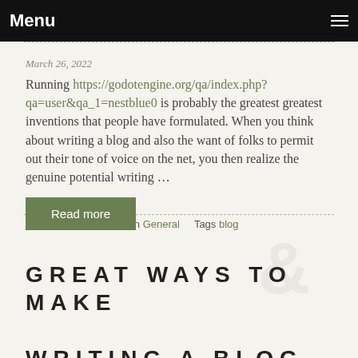Menu
March 26, 2022
Running https://godotengine.org/qa/index.php?qa=user&qa_1=nestblue0 is probably the greatest greatest inventions that people have formulated. When you think about writing a blog and also the want of folks to permit out their tone of voice on the net, you then realize the genuine potential writing …
Read more
0 comments   Posted in General   Tags blog
GREAT WAYS TO MAKE WRITING A BLOG